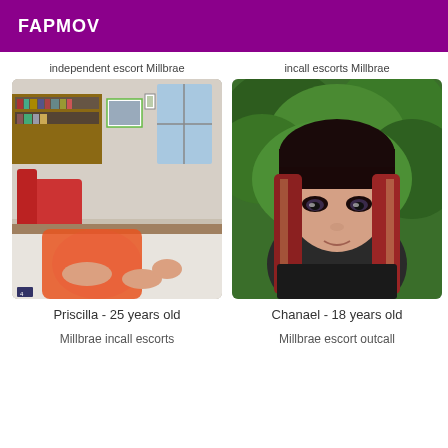FAPMOV
independent escort Millbrae
[Figure (photo): Photo of a person in an orange outfit sitting indoors with bookshelves and framed artwork in the background]
Priscilla - 25 years old
Millbrae incall escorts
incall escorts Millbrae
[Figure (photo): Photo of a young woman with long reddish-brown hair and bangs, standing outdoors in front of green foliage]
Chanael - 18 years old
Millbrae escort outcall